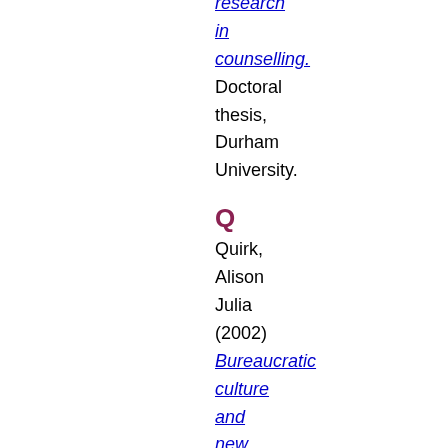research in counselling. Doctoral thesis, Durham University.
Q
Quirk, Alison Julia (2002) Bureaucratic culture and new public management:: a case study